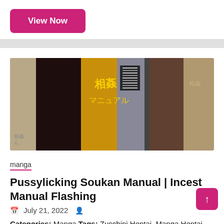View Now
[Figure (illustration): Collage of manga book covers featuring anime-style characters]
manga
Pussylicking Soukan Manual | Incest Manual Flashing
July 21, 2022
Categories: Manga Tags: Zucchini Hentai, Manga Hentai, Big breasts Hentai, Group Hentai, Lolicon Hentai,